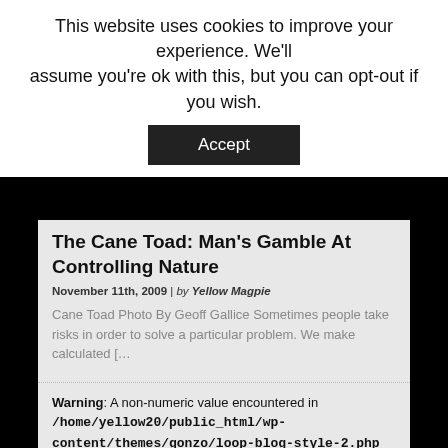This website uses cookies to improve your experience. We'll assume you're ok with this, but you can opt-out if you wish.
Accept
The Cane Toad: Man's Gamble At Controlling Nature
November 11th, 2009 | by Yellow Magpie
Cane Toad Photo By Geoff Gallice Sometimes people take risks in order to solve a particular problem. We make calculated [&hellip
Warning: A non-numeric value encountered in /home/yellow20/public_html/wp-content/themes/gonzo/loop-blog-style-2.php on line 5
Birds
[Figure (photo): Photo of a large black bird (turkey or similar) on grassy ground, partially visible at bottom of page]